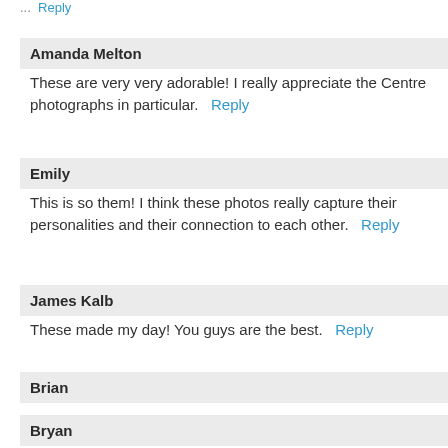... Reply
Amanda Melton
These are very very adorable! I really appreciate the Centre photographs in particular.   Reply
Emily
This is so them! I think these photos really capture their personalities and their connection to each other.   Reply
James Kalb
These made my day! You guys are the best.   Reply
Brian
Awesome photos! Isn't there some kind of tradition that a couple who kisses over the Centre seal is destined to get married? ☺   Reply
Bryan
Love the photos (especially the laughing ...